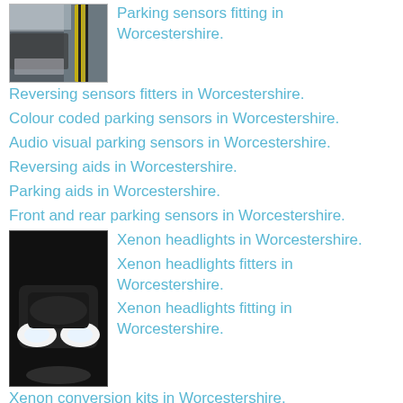[Figure (photo): Car near a bollard with yellow/black stripes, parking sensor context]
Parking sensors fitting in Worcestershire.
Reversing sensors fitters in Worcestershire.
Colour coded parking sensors in Worcestershire.
Audio visual parking sensors in Worcestershire.
Reversing aids in Worcestershire.
Parking aids in Worcestershire.
Front and rear parking sensors in Worcestershire.
[Figure (photo): Car with bright xenon headlights illuminated at night]
Xenon headlights in Worcestershire.
Xenon headlights fitters in Worcestershire.
Xenon headlights fitting in Worcestershire.
Xenon conversion kits in Worcestershire.